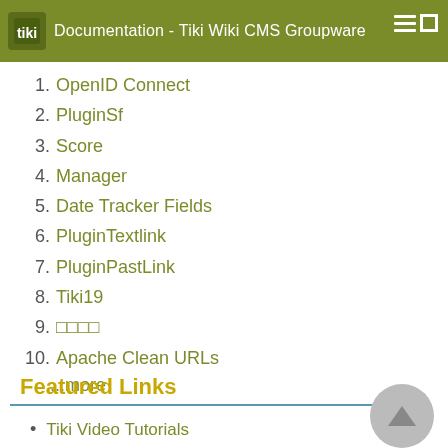Documentation - Tiki Wiki CMS Groupware
1. OpenID Connect
2. PluginSf
3. Score
4. Manager
5. Date Tracker Fields
6. PluginTextlink
7. PluginPastLink
8. Tiki19
9. □□□□
10. Apache Clean URLs
...more
Featured Links
Tiki Video Tutorials
Tiki for Smarties